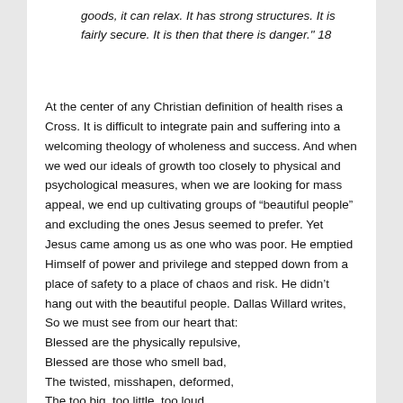goods, it can relax. It has strong structures. It is fairly secure. It is then that there is danger." 18
At the center of any Christian definition of health rises a Cross. It is difficult to integrate pain and suffering into a welcoming theology of wholeness and success. And when we wed our ideals of growth too closely to physical and psychological measures, when we are looking for mass appeal, we end up cultivating groups of “beautiful people” and excluding the ones Jesus seemed to prefer. Yet Jesus came among us as one who was poor. He emptied Himself of power and privilege and stepped down from a place of safety to a place of chaos and risk. He didn’t hang out with the beautiful people. Dallas Willard writes,
So we must see from our heart that:
Blessed are the physically repulsive,
Blessed are those who smell bad,
The twisted, misshapen, deformed,
The too big, too little, too loud,
The bald, the fat, and the old-